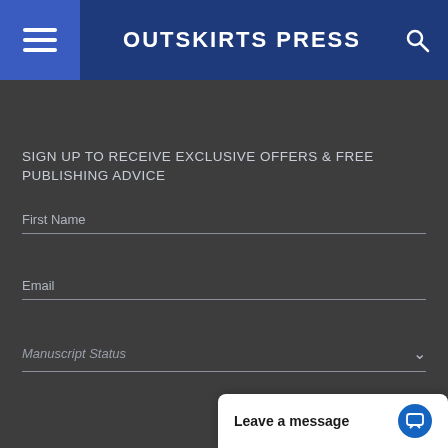OUTSKIRTS PRESS
SIGN UP TO RECEIVE EXCLUSIVE OFFERS & FREE PUBLISHING ADVICE
First Name
Email
Manuscript Status
Leave a message